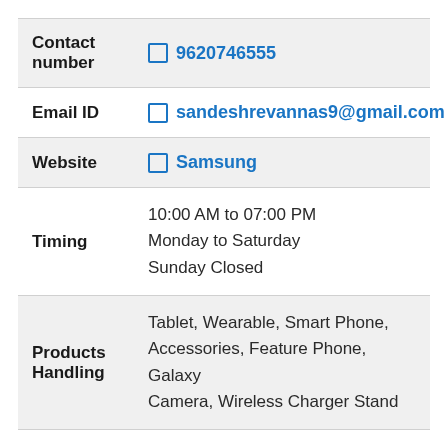| Field | Value |
| --- | --- |
| Contact number | 📞 9620746555 |
| Email ID | ✉ sandeshrevannas9@gmail.com |
| Website | 🔗 Samsung |
| Timing | 10:00 AM to 07:00 PM
Monday to Saturday
Sunday Closed |
| Products Handling | Tablet, Wearable, Smart Phone, Accessories, Feature Phone, Galaxy Camera, Wireless Charger Stand |